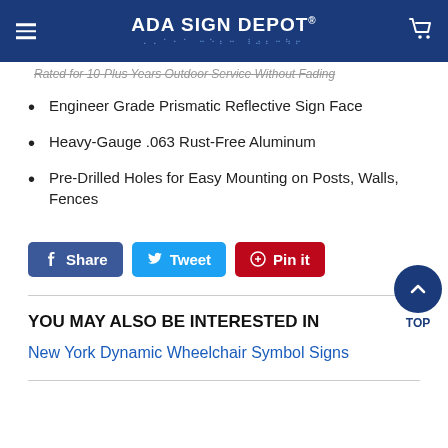ADA SIGN DEPOT®
Rated for 10-Plus Years Outdoor Service Without Fading
Engineer Grade Prismatic Reflective Sign Face
Heavy-Gauge .063 Rust-Free Aluminum
Pre-Drilled Holes for Easy Mounting on Posts, Walls, Fences
[Figure (other): Social sharing buttons: Facebook Share, Twitter Tweet, Pinterest Pin it]
YOU MAY ALSO BE INTERESTED IN
New York Dynamic Wheelchair Symbol Signs